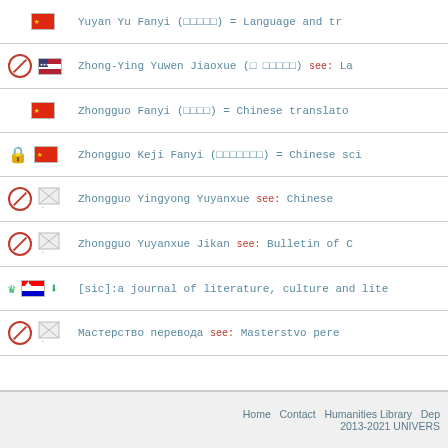Yuyan Yu Fanyi (□□□□□) = Language and tr...
Zhong-Ying Yuwen Jiaoxue (□ □□□□□) see: La...
Zhongguo Fanyi (□□□□) = Chinese translator...
Zhongguo Keji Fanyi (□□□□□□□) = Chinese sci...
Zhongguo Yingyong Yuyanxue see: Chinese...
Zhongguo Yuyanxue Jikan see: Bulletin of C...
[sic]:a journal of literature, culture and lite...
Мастерство перевода see: Masterstvo pere...
Home  Contact  Humanities Library  Dep... 2013-2021 UNIVERS...